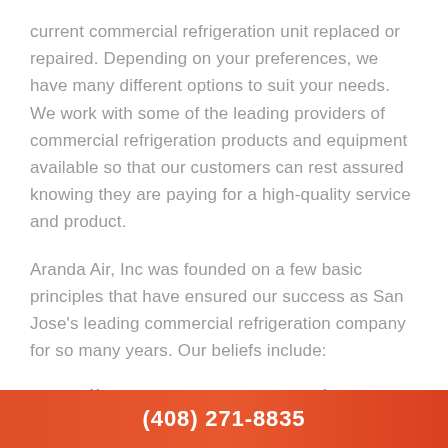current commercial refrigeration unit replaced or repaired. Depending on your preferences, we have many different options to suit your needs. We work with some of the leading providers of commercial refrigeration products and equipment available so that our customers can rest assured knowing they are paying for a high-quality service and product.
Aranda Air, Inc was founded on a few basic principles that have ensured our success as San Jose's leading commercial refrigeration company for so many years. Our beliefs include:
Excellent Customer Service
Our job is not over until the customer is 100% satisfied
(408) 271-8835